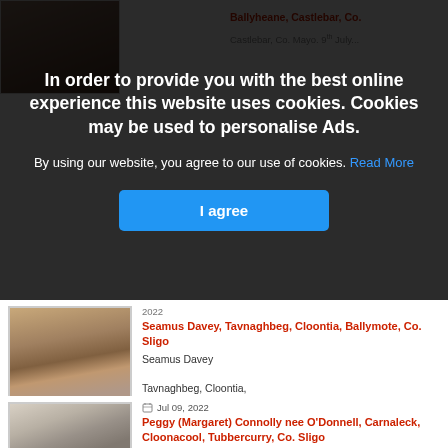Ballyheane, Castlebar, Co. ... Castlebar, Co. Mayo. 9th July...
In order to provide you with the best online experience this website uses cookies. Cookies may be used to personalise Ads.
By using our website, you agree to our use of cookies. Read More
I agree
2022
Seamus Davey, Tavnaghbeg, Cloontia, Ballymote, Co. Sligo
Seamus Davey
Tavnaghbeg, Cloontia, Ballymote, Co. Sligo.
Deeply missed and...
Jul 09, 2022
Peggy (Margaret) Connolly nee O'Donnell, Carnaleck, Cloonacool, Tubbercurry, Co. Sligo
Peggy (Margaret) Connolly née O'Donnell